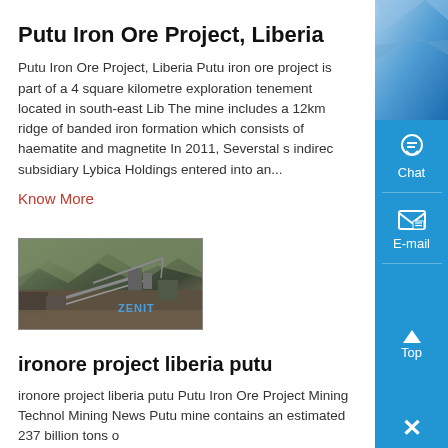Putu Iron Ore Project, Liberia
Putu Iron Ore Project, Liberia Putu iron ore project is part of a 4 square kilometre exploration tenement located in south-east Lib The mine includes a 12km ridge of banded iron formation which consists of haematite and magnetite In 2011, Severstal s indirec subsidiary Lybica Holdings entered into an...
Know More
[Figure (photo): Mining facility with conveyor structures and machinery, labeled ZENIT]
ironore project liberia putu
ironore project liberia putu Putu Iron Ore Project Mining Technol Mining News Putu mine contains an estimated 237 billion tons o